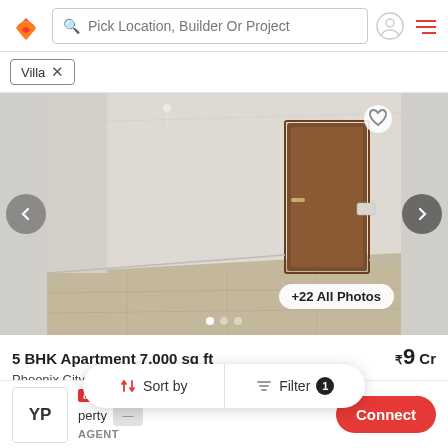Pick Location, Builder Or Project
Villa
[Figure (photo): Interior room photo of an empty apartment with beige walls, tiled floor, and a dark wooden door]
+22 All Photos
5 BHK Apartment 7,000 sq ft
₹9 Cr
Phoenix City The Crest  |  Velachery, Chennai
5 BHK Ready ... More
Sort by
Filter 1
adpushup  perty  AGENT
Connect